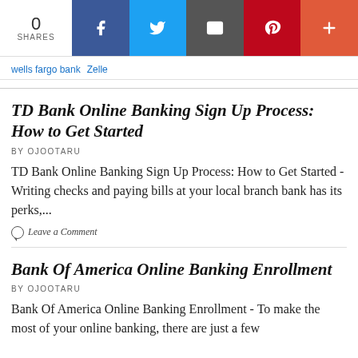[Figure (infographic): Social share bar showing 0 shares, with Facebook, Twitter, Email, Pinterest, and More buttons]
wells fargo bank  Zelle
TD Bank Online Banking Sign Up Process: How to Get Started
BY OJOOTARU
TD Bank Online Banking Sign Up Process: How to Get Started - Writing checks and paying bills at your local branch bank has its perks,...
Leave a Comment
Bank Of America Online Banking Enrollment
BY OJOOTARU
Bank Of America Online Banking Enrollment - To make the most of your online banking, there are just a few